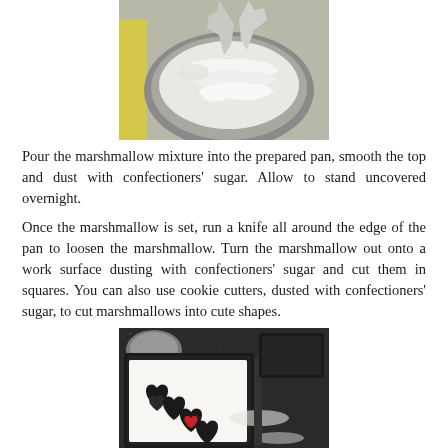[Figure (photo): A mixing bowl with white fluffy marshmallow mixture being stirred by a mixer attachment, set in a yellow stand mixer.]
Pour the marshmallow mixture into the prepared pan, smooth the top and dust with confectioners' sugar. Allow to stand uncovered overnight.
Once the marshmallow is set, run a knife all around the edge of the pan to loosen the marshmallow. Turn the marshmallow out onto a work surface dusting with confectioners' sugar and cut them in squares. You can also use cookie cutters, dusted with confectioners' sugar, to cut marshmallows into cute shapes.
[Figure (photo): A baking pan with white marshmallow slab on a dark granite countertop, with heart-shaped cookie cutters used to cut out shapes, dusted with confectioners' sugar.]